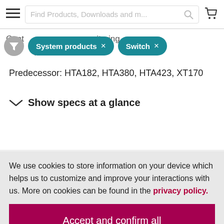Find Products, Downloads and m...
Cont... ...s su... ...f ...itoring ...um... System products × Switch ×
Predecessor: HTA182, HTA380, HTA423, XT170
Show specs at a glance
We use cookies to store information on your device which helps us to customize and improve your interactions with us. More on cookies can be found in the privacy policy.
Accept and confirm all
Adapt settings